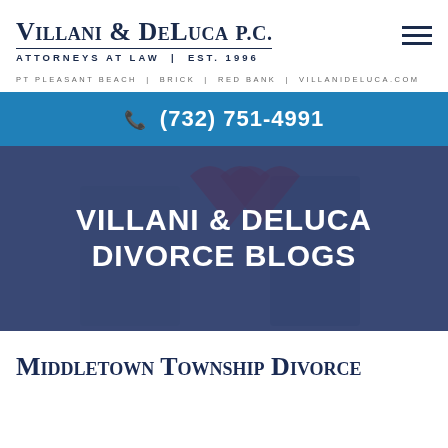[Figure (logo): Villani & DeLuca P.C. law firm logo with text 'Attorneys at Law | Est. 1996']
PT PLEASANT BEACH  |  BRICK  |  RED BANK  |  VILLANIDELUCA.COM
(732) 751-4991
[Figure (photo): Background photo of couple in conflict holding broken heart, overlaid with dark blue tint]
VILLANI & DELUCA DIVORCE BLOGS
Middletown Township Divorce